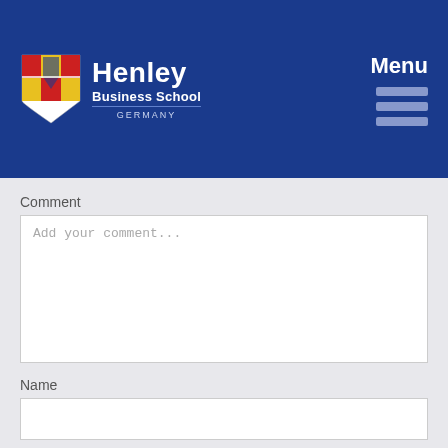Henley Business School GERMANY — Menu
Comment
Add your comment...
Name
E-mail (your e-mail address will not be displayed)
Company (optional)